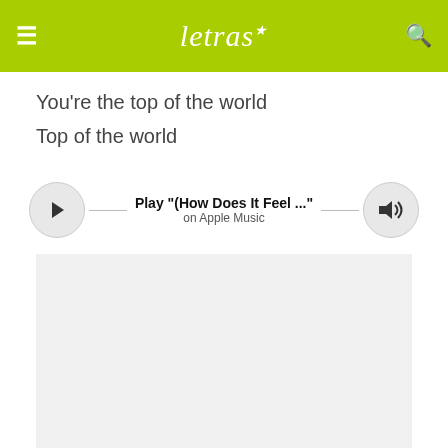letras
You're the top of the world
Top of the world
[Figure (other): Music player widget showing Play button, track title 'Play "(How Does It Feel ..."', subtitle 'on Apple Music', and volume button]
[Figure (other): Advertisement placeholder area (light gray box)]